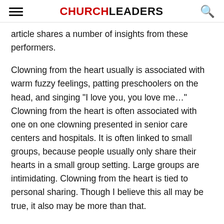CHURCHLEADERS
article shares a number of insights from these performers.
Clowning from the heart usually is associated with warm fuzzy feelings, patting preschoolers on the head, and singing "I love you, you love me…" Clowning from the heart is often associated with one on one clowning presented in senior care centers and hospitals. It is often linked to small groups, because people usually only share their hearts in a small group setting. Large groups are intimidating. Clowning from the heart is tied to personal sharing. Though I believe this all may be true, it also may be more than that.
Great entertainers give you the sense, even while sitting in a crowd of a thousand, that they care about you. Through their performance you and they form a bond; a relationship.